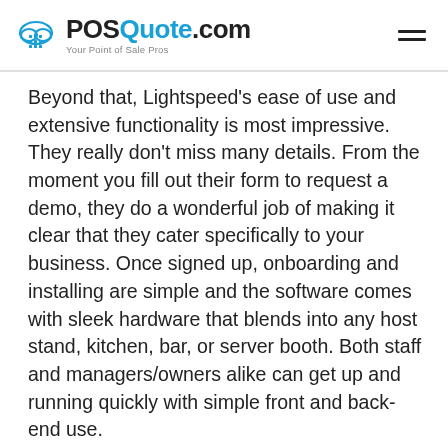POSQuote.com — Your Point of Sale Pros
Beyond that, Lightspeed's ease of use and extensive functionality is most impressive. They really don't miss many details. From the moment you fill out their form to request a demo, they do a wonderful job of making it clear that they cater specifically to your business. Once signed up, onboarding and installing are simple and the software comes with sleek hardware that blends into any host stand, kitchen, bar, or server booth. Both staff and managers/owners alike can get up and running quickly with simple front and back-end use.
The other highlight for us is Lightspeed's vast